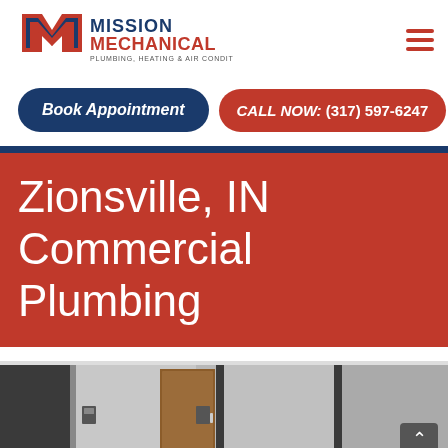[Figure (logo): Mission Mechanical logo: stylized M in blue and red with text MISSION MECHANICAL and PLUMBING, HEATING & AIR CONDITIONING]
Book Appointment
CALL NOW: (317) 597-6247
Zionsville, IN Commercial Plumbing
[Figure (photo): Interior photo of commercial bathroom/restroom area with dark partition walls, a wooden door, and gray walls]